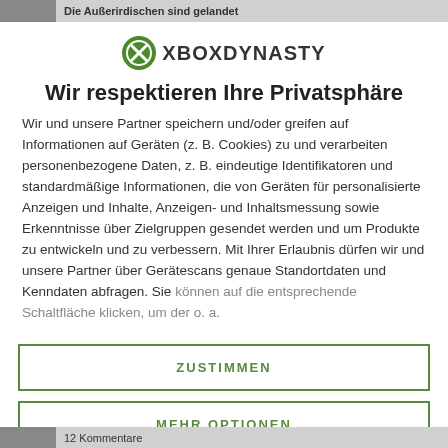Die Außerirdischen sind gelandet
[Figure (logo): Xbox Dynasty logo: green circle with X icon and text XBOX DYNASTY]
Wir respektieren Ihre Privatsphäre
Wir und unsere Partner speichern und/oder greifen auf Informationen auf Geräten (z. B. Cookies) zu und verarbeiten personenbezogene Daten, z. B. eindeutige Identifikatoren und standardmäßige Informationen, die von Geräten für personalisierte Anzeigen und Inhalte, Anzeigen- und Inhaltsmessung sowie Erkenntnisse über Zielgruppen gesendet werden und um Produkte zu entwickeln und zu verbessern. Mit Ihrer Erlaubnis dürfen wir und unsere Partner über Gerätescans genaue Standortdaten und Kenndaten abfragen. Sie können auf die entsprechende Schaltfläche klicken, um der o. a.
ZUSTIMMEN
MEHR OPTIONEN
12 Kommentare